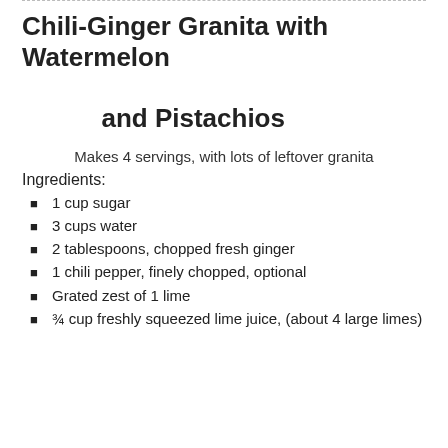Chili-Ginger Granita with Watermelon and Pistachios
Makes 4 servings, with lots of leftover granita
Ingredients:
1 cup sugar
3 cups water
2 tablespoons, chopped fresh ginger
1 chili pepper, finely chopped, optional
Grated zest of 1 lime
¾ cup freshly squeezed lime juice, (about 4 large limes)